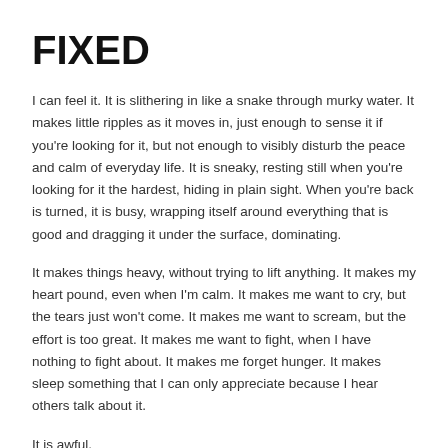FIXED
I can feel it. It is slithering in like a snake through murky water. It makes little ripples as it moves in, just enough to sense it if you're looking for it, but not enough to visibly disturb the peace and calm of everyday life. It is sneaky, resting still when you're looking for it the hardest, hiding in plain sight. When you're back is turned, it is busy, wrapping itself around everything that is good and dragging it under the surface, dominating.
It makes things heavy, without trying to lift anything. It makes my heart pound, even when I'm calm. It makes me want to cry, but the tears just won't come. It makes me want to scream, but the effort is too great. It makes me want to fight, when I have nothing to fight about. It makes me forget hunger. It makes sleep something that I can only appreciate because I hear others talk about it.
It is awful.